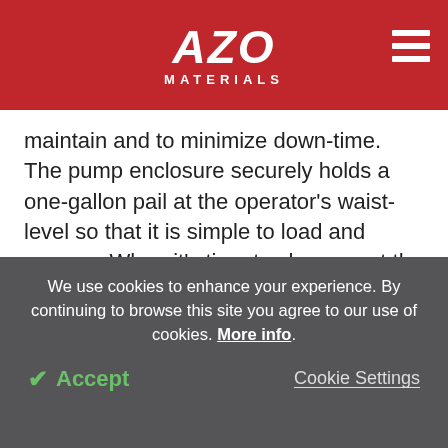AZO MATERIALS
maintain and to minimize down-time. The pump enclosure securely holds a one-gallon pail at the operator's waist-level so that it is simple to load and remove. When it's time to change out the pail, a semi-automated air-bleed routine with priming valve ensures that air is removed from the system, operating behind the closed, safety-interlocked doors. This operation helps to maintain safety while minimizing down-time and
We use cookies to enhance your experience. By continuing to browse this site you agree to our use of cookies. More info.
✔ Accept
Cookie Settings